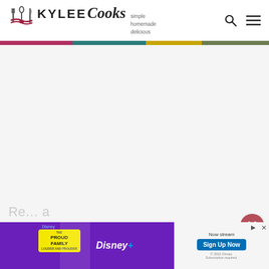KYLEE Cooks — simple homemade delicious
[Figure (other): Kylee Cooks logo with crossed utensils icon, site name, and tagline 'simple homemade delicious']
[Figure (other): Decorative color bar in dark red, teal, gold, and olive green segments]
[Figure (other): Large blank advertisement placeholder area]
Bring to a boil then turn heat down to a sim… until the sauce reduces down a little.
[Figure (other): Disney+ ad banner for The Proud Family with 'Now stream' and 'Sign Up Now' button]